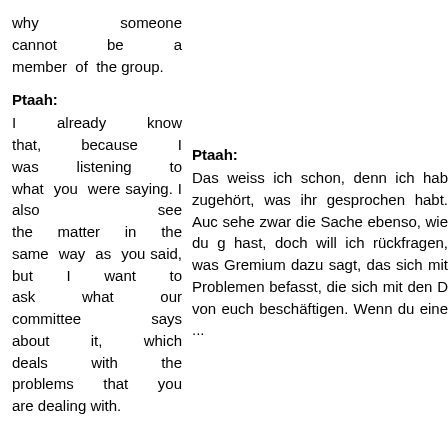why someone cannot be a member of the group.
Ptaah:
Ptaah:
I already know that, because I was listening to what you were saying. I also see the matter in the same way as you said, but I want to ask what our committee says about it, which deals with the problems that you are dealing with.
Das weiss ich schon, denn ich hab zugehört, was ihr gesprochen habt. Auc sehe zwar die Sache ebenso, wie du g hast, doch will ich rückfragen, was Gremium dazu sagt, das sich mit Problemen befasst, die sich mit den D von euch beschäftigen. Wenn du eine ...